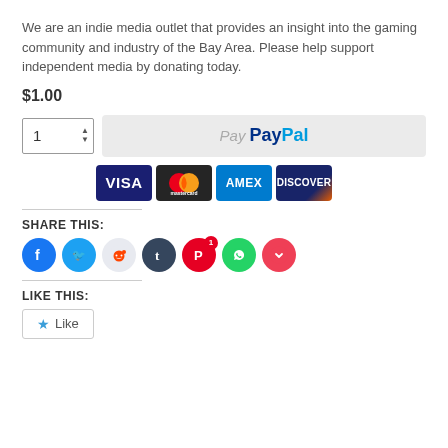We are an indie media outlet that provides an insight into the gaming community and industry of the Bay Area. Please help support independent media by donating today.
$1.00
[Figure (screenshot): PayPal payment button with quantity box showing 1, and a light grey PayPal button area]
[Figure (screenshot): Payment card icons: VISA, Mastercard, AMEX, Discover]
SHARE THIS:
[Figure (screenshot): Social share icons: Facebook, Twitter, Reddit, Tumblr, Pinterest (with badge 1), WhatsApp, Pocket]
LIKE THIS:
[Figure (screenshot): Like button with star icon]